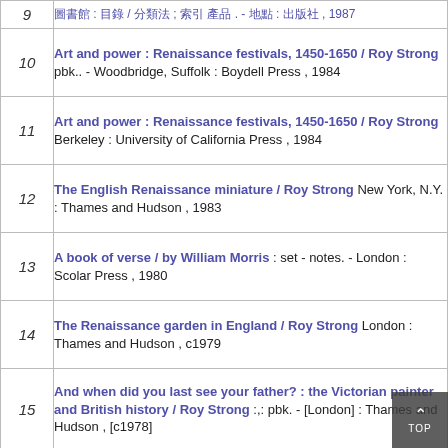9 [non-latin text] : [non-latin] / [non-latin] ; [non-latin] [non-latin] - [non-latin] : [non-latin] , 1987
10 Art and power : Renaissance festivals, 1450-1650 / Roy Strong pbk.. - Woodbridge, Suffolk : Boydell Press , 1984
11 Art and power : Renaissance festivals, 1450-1650 / Roy Strong Berkeley : University of California Press , 1984
12 The English Renaissance miniature / Roy Strong New York, N.Y. : Thames and Hudson , 1983
13 A book of verse / by William Morris : set - notes. - London : Scolar Press , 1980
14 The Renaissance garden in England / Roy Strong London : Thames and Hudson , c1979
15 And when did you last see your father? : the Victorian painter and British history / Roy Strong :,: pbk. - [London] : Thames and Hudson , [c1978]
16 Tudor & Jacobean portraits : National Portraits Gallery / Roy Strong v. 1: text,v. 2: plates. - London : H.M.S.O., 1969